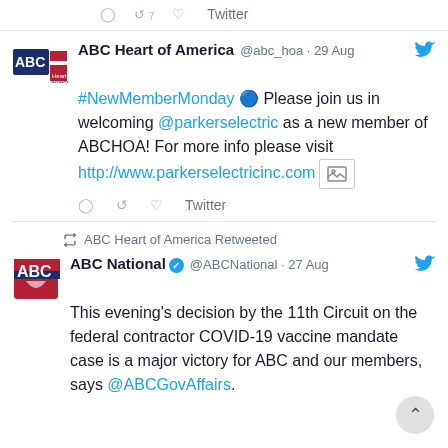Twitter (action icons row — reply, retweet, like)
ABC Heart of America @abc_hoa · 29 Aug — #NewMemberMonday 🔵 Please join us in welcoming @parkerselectric as a new member of ABCHOA! For more info please visit http://www.parkerselectricinc.com
Twitter (action icons row — reply, retweet, like)
ABC Heart of America Retweeted
ABC National ✓ @ABCNational · 27 Aug — This evening's decision by the 11th Circuit on the federal contractor COVID-19 vaccine mandate case is a major victory for ABC and our members, says @ABCGovAffairs.